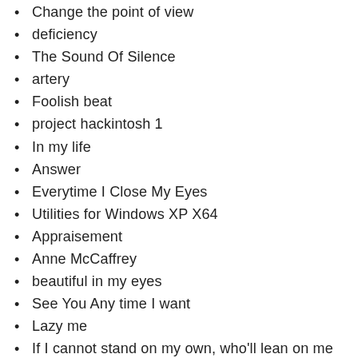Change the point of view
deficiency
The Sound Of Silence
artery
Foolish beat
project hackintosh 1
In my life
Answer
Everytime I Close My Eyes
Utilities for Windows XP X64
Appraisement
Anne McCaffrey
beautiful in my eyes
See You Any time I want
Lazy me
If I cannot stand on my own, who'll lean on me
All gardeners live in beautiful places because they make them so.
Someday We'll Know